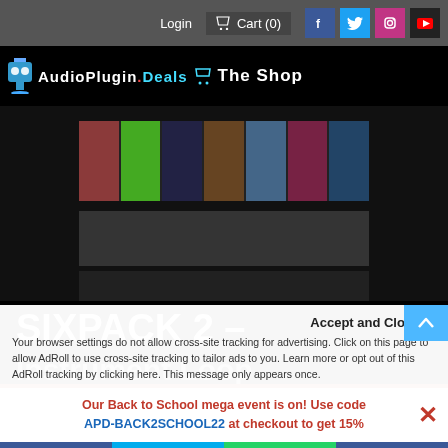Login   Cart (0)   [Facebook] [Twitter] [Instagram] [YouTube]
[Figure (logo): AudioPlugin.Deals The Shop logo on black background with shopping cart icon]
[Figure (screenshot): Product image gallery strip showing multiple music instrument loop pack album covers on dark background]
SIXPACK 2 –
Instrument Loop
Accept and Close ×
Your browser settings do not allow cross-site tracking for advertising. Click on this page to allow AdRoll to use cross-site tracking to tailor ads to you. Learn more or opt out of this AdRoll tracking by clicking here. This message only appears once.
Our Back to School mega event is on! Use code APD-BACK2SCHOOL22 at checkout to get 15% off... [close button]
[Facebook] [Twitter] [WhatsApp] [SMS]